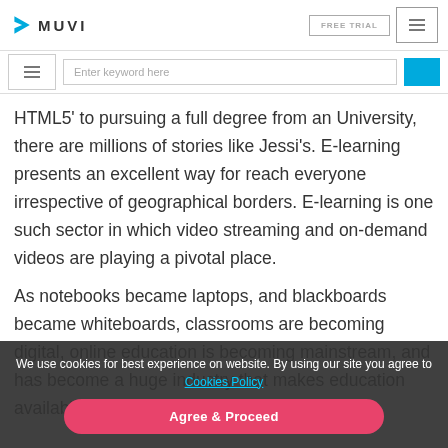MUVI | FREE TRIAL | menu | Enter keyword here
HTML5' to pursuing a full degree from an University, there are millions of stories like Jessi's. E-learning presents an excellent way for reach everyone irrespective of geographical borders. E-learning is one such sector in which video streaming and on-demand videos are playing a pivotal place.
As notebooks became laptops, and blackboards became whiteboards, classrooms are becoming digital, online education is becoming mainstream, and has become a huge industry that makes education available to anyone with an internet connection. Universities like MIT and Harvard have online...
We use cookies for best experience on website. By using our site you agree to Cookies Policy